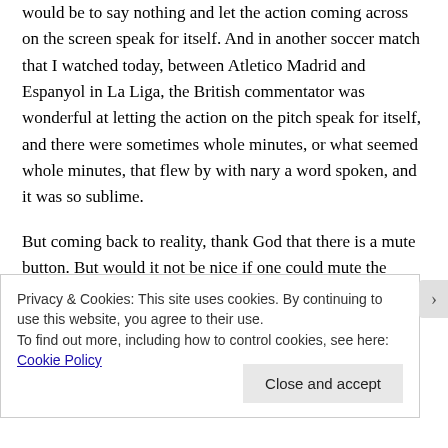would be to say nothing and let the action coming across on the screen speak for itself. And in another soccer match that I watched today, between Atletico Madrid and Espanyol in La Liga, the British commentator was wonderful at letting the action on the pitch speak for itself, and there were sometimes whole minutes, or what seemed whole minutes, that flew by with nary a word spoken, and it was so sublime.
But coming back to reality, thank God that there is a mute button. But would it not be nice if one could mute the comments without muting the sounds coming from the match itself, and to have that option on our
Privacy & Cookies: This site uses cookies. By continuing to use this website, you agree to their use.
To find out more, including how to control cookies, see here: Cookie Policy